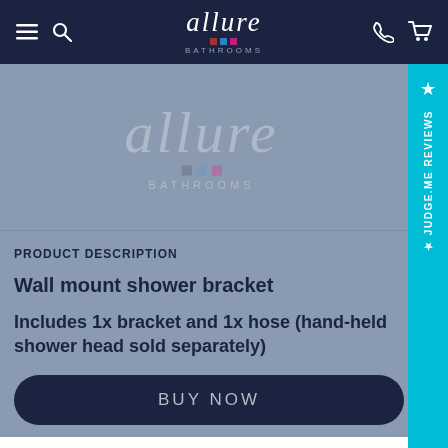allure bathrooms — navigation header with menu, search, phone, cart icons
[Figure (screenshot): Product image placeholder area with grey background and allure bathrooms watermark logo overlay]
PRODUCT DESCRIPTION
Wall mount shower bracket
Includes 1x bracket and 1x hose (hand-held shower head sold separately)
BUY NOW